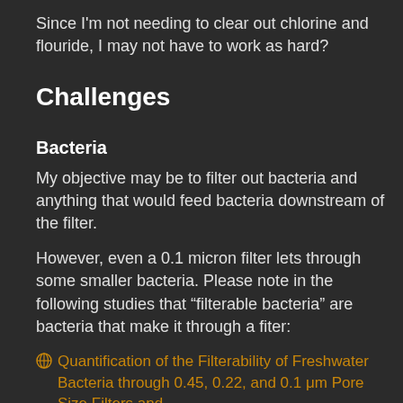Since I'm not needing to clear out chlorine and flouride, I may not have to work as hard?
Challenges
Bacteria
My objective may be to filter out bacteria and anything that would feed bacteria downstream of the filter.
However, even a 0.1 micron filter lets through some smaller bacteria. Please note in the following studies that “filterable bacteria” are bacteria that make it through a fiter:
Quantification of the Filterability of Freshwater Bacteria through 0.45, 0.22, and 0.1 μm Pore Size Filters and